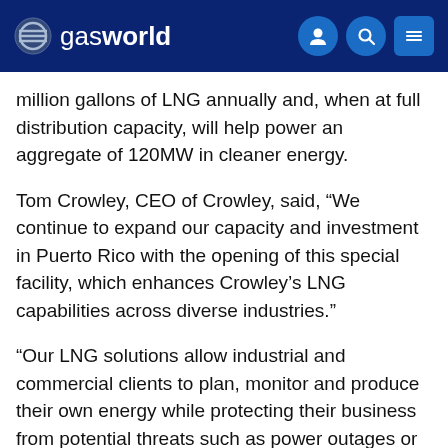gasworld
million gallons of LNG annually and, when at full distribution capacity, will help power an aggregate of 120MW in cleaner energy.
Tom Crowley, CEO of Crowley, said, “We continue to expand our capacity and investment in Puerto Rico with the opening of this special facility, which enhances Crowley’s LNG capabilities across diverse industries.”
“Our LNG solutions allow industrial and commercial clients to plan, monitor and produce their own energy while protecting their business from potential threats such as power outages or natural disasters.”
Crowley’s move in Puerto Rico builds on a strong relationship with the island’s government.